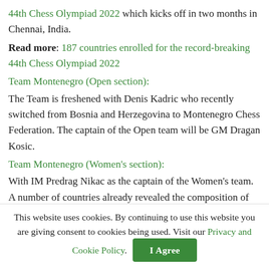44th Chess Olympiad 2022 which kicks off in two months in Chennai, India.
Read more: 187 countries enrolled for the record-breaking 44th Chess Olympiad 2022
Team Montenegro (Open section):
The Team is freshened with Denis Kadric who recently switched from Bosnia and Herzegovina to Montenegro Chess Federation. The captain of the Open team will be GM Dragan Kosic.
Team Montenegro (Women's section):
With IM Predrag Nikac as the captain of the Women's team. A number of countries already revealed the composition of their teams for Chennai, such as: Norway, Germany, Spain,
Serbia, Monaco, Kenya, India, Uganda, Sri
This website uses cookies. By continuing to use this website you are giving consent to cookies being used. Visit our Privacy and Cookie Policy.